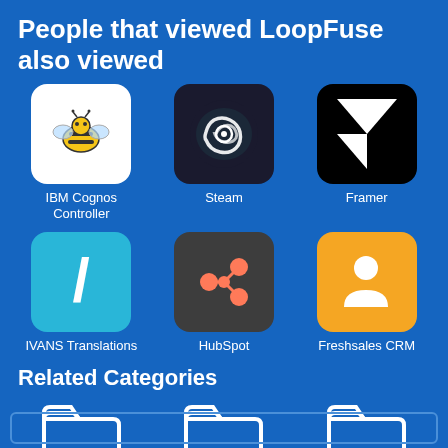People that viewed LoopFuse also viewed
[Figure (illustration): IBM Cognos Controller app icon - white background with bee logo]
IBM Cognos Controller
[Figure (illustration): Steam app icon - black background with Steam logo]
Steam
[Figure (illustration): Framer app icon - black background with arrow logo]
Framer
[Figure (illustration): IVANS Translations app icon - teal background with slash logo]
IVANS Translations
[Figure (illustration): HubSpot app icon - dark background with orange HubSpot logo]
HubSpot
[Figure (illustration): Freshsales CRM app icon - yellow/orange background with person icon]
Freshsales CRM
Related Categories
[Figure (illustration): Folder icon for CRM category]
CRM
[Figure (illustration): Folder icon for Sales category]
Sales
[Figure (illustration): Folder icon for CMS category]
CMS